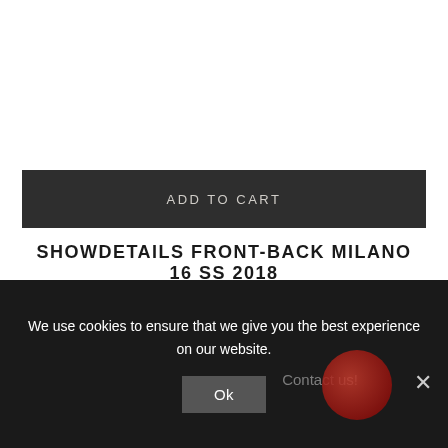ADD TO CART
SHOWDETAILS FRONT-BACK MILANO 16 SS 2018
$20.00
We use cookies to ensure that we give you the best experience on our website.
Ok
Contact us!